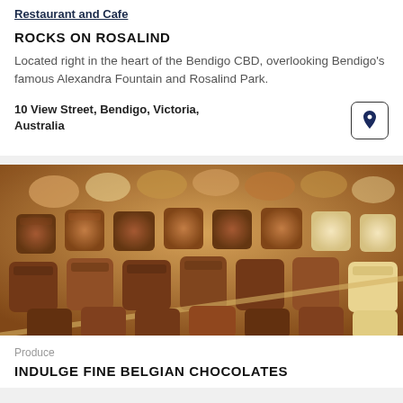Restaurant and Cafe
ROCKS ON ROSALIND
Located right in the heart of the Bendigo CBD, overlooking Bendigo's famous Alexandra Fountain and Rosalind Park.
10 View Street, Bendigo, Victoria, Australia
[Figure (photo): Close-up photograph of an assortment of Belgian chocolates — dark, milk and white chocolate pieces arranged in rows on a display surface.]
Produce
INDULGE FINE BELGIAN CHOCOLATES